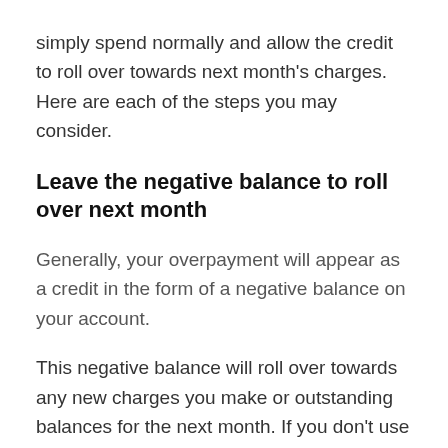simply spend normally and allow the credit to roll over towards next month's charges. Here are each of the steps you may consider.
Leave the negative balance to roll over next month
Generally, your overpayment will appear as a credit in the form of a negative balance on your account.
This negative balance will roll over towards any new charges you make or outstanding balances for the next month. If you don't use the negative balance within six months, your creditor has a legal obligation to try to issue a refund. But if your card issuer can't contact you because you've moved or